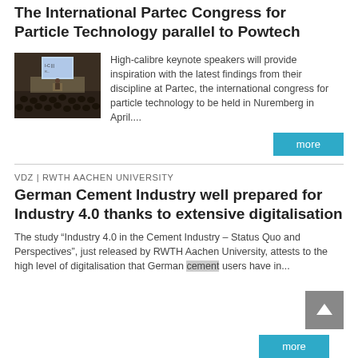The International Partec Congress for Particle Technology parallel to Powtech
[Figure (photo): Audience at a conference hall with a presentation screen showing logos]
High-calibre keynote speakers will provide inspiration with the latest findings from their discipline at Partec, the international congress for particle technol-ogy to be held in Nuremberg in April....
more
VDZ | RWTH AACHEN UNIVERSITY
German Cement Industry well prepared for Industry 4.0 thanks to extensive digitalisation
The study “Industry 4.0 in the Cement Industry – Status Quo and Perspectives”, just released by RWTH Aachen University, attests to the high level of digitalisation that German cement users have in...
more